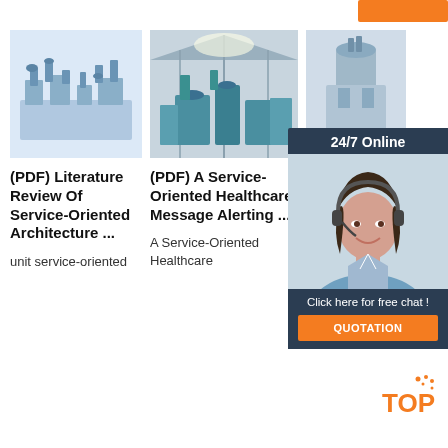[Figure (screenshot): Orange button in top right corner]
[Figure (photo): Industrial machine/plant equipment photo, light blue background]
[Figure (photo): Industrial flour milling or processing equipment in warehouse]
[Figure (photo): Industrial equipment partially covered by chat widget overlay]
(PDF) Literature Review Of Service-Oriented Architecture ...
unit service-oriented
(PDF) A Service-Oriented Healthcare Message Alerting ...
A Service-Oriented Healthcare
M S P M M Skin Peeling ...
Peeling efficiency is
[Figure (infographic): 24/7 Online chat widget with female agent wearing headset, dark navy background, 'Click here for free chat!' text, and orange QUOTATION button]
[Figure (logo): TOP logo in orange with orange dot decorations]